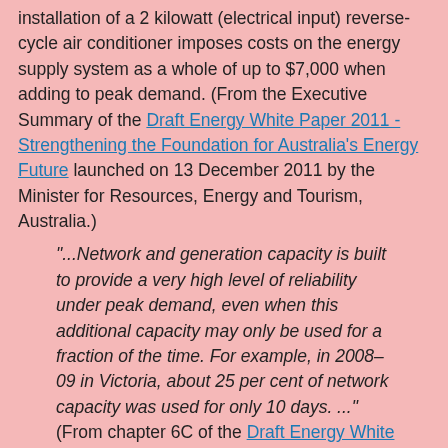installation of a 2 kilowatt (electrical input) reverse-cycle air conditioner imposes costs on the energy supply system as a whole of up to $7,000 when adding to peak demand. (From the Executive Summary of the Draft Energy White Paper 2011 - Strengthening the Foundation for Australia's Energy Future launched on 13 December 2011 by the Minister for Resources, Energy and Tourism, Australia.)
"...Network and generation capacity is built to provide a very high level of reliability under peak demand, even when this additional capacity may only be used for a fraction of the time. For example, in 2008–09 in Victoria, about 25 per cent of network capacity was used for only 10 days. ..." (From chapter 6C of the Draft Energy White Paper 2011 - Strengthening the Foundation for Australia's Energy Future)
Demand Response Management
A cheaper solution to under-utilised electricity supply infrastructure is to do away with the concept "base load demand" and add "discretionary demand".